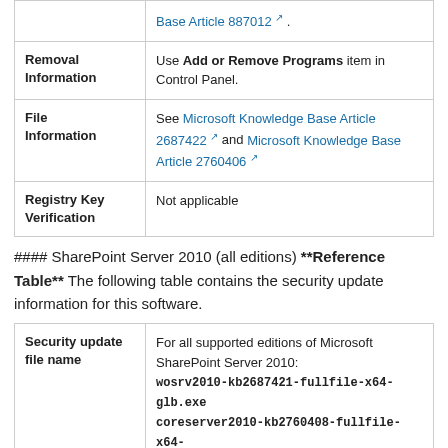|  | Base Article 887012 ↗ . |
| Removal Information | Use Add or Remove Programs item in Control Panel. |
| File Information | See Microsoft Knowledge Base Article 2687422 ↗ and Microsoft Knowledge Base Article 2760406 ↗ |
| Registry Key Verification | Not applicable |
#### SharePoint Server 2010 (all editions) **Reference Table** The following table contains the security update information for this software.
| Security update file name | For all supported editions of Microsoft SharePoint Server 2010: wosrv2010-kb2687421-fullfile-x64-glb.exe coreserver2010-kb2760408-fullfile-x64-glb.exe |